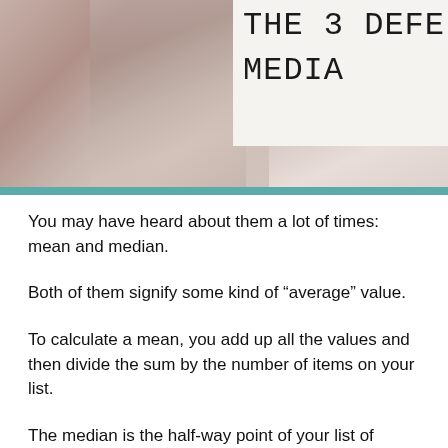[Figure (photo): Close-up photo of a cat or animal fur, warm beige/brown tones, with partial title text overlay reading 'THE 3 DEFE' and 'MEDIA' visible in the upper right, with a teal horizontal bar at the bottom of the image]
You may have heard about them a lot of times: mean and median.
Both of them signify some kind of “average” value.
To calculate a mean, you add up all the values and then divide the sum by the number of items on your list.
The median is the half-way point of your list of numbers: